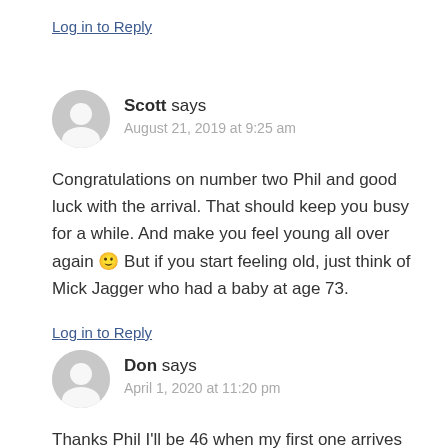Log in to Reply
Scott says
August 21, 2019 at 9:25 am
Congratulations on number two Phil and good luck with the arrival. That should keep you busy for a while. And make you feel young all over again 🙂 But if you start feeling old, just think of Mick Jagger who had a baby at age 73.
Log in to Reply
Don says
April 1, 2020 at 11:20 pm
Thanks Phil I'll be 46 when my first one arrives I'm so